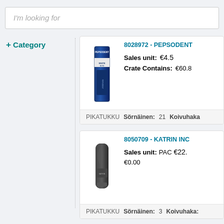I'm looking for
+ Category
[Figure (photo): Pepsodent White Now toothpaste box, blue and white packaging]
8028972 - PEPSODENT
Sales unit: €4.5
Crate Contains: €60.80
PIKATUKKU  Sörnäinen: 21  Koivuhaka
[Figure (photo): Katrin Inclusive black soap/hand sanitizer dispenser]
8050709 - KATRIN INCI
Sales unit: PAC €22.
€0.00
PIKATUKKU  Sörnäinen: 3  Koivuhaka: